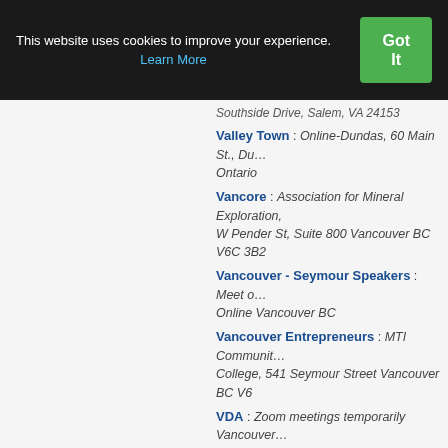This website uses cookies to improve your experience. Learn More Got It
Southside Drive, Salem, VA 24153
Valley Town : Online-Dundas, 60 Main St., Dundas, Ontario
Vancore : Association for Mineral Exploration, W Pender St, Suite 800 Vancouver BC V6C 3B2
Vancouver - Seymour Speakers : Meet online Vancouver BC
Vancouver Entrepreneurs : MTI Community College, 541 Seymour Street Vancouver BC V6
VDA : Zoom meetings temporarily Vancouver Directors Alliance Inc, 260-8211 Ackroyd Rd Richmond BC V6X 3K8
Very Articulate Master Communicators : 2K115, 1201 Broad Rock Blvd. Richmond VA 23, United States
Victoria : Hybrid - YMCA (the "Lounge" room upstairs) and Zoom Meeting, 12 Hereford Street Christchurch Central City, Christchurch 8013
Victoria Falls : Online Zoom Meeting,
Vila Olimpia English : Amazon's office, Av. Presidente Juscelino Kubitschek 2041 E tower, floor São Paulo - 04543-011 Brazil
Vineyard Journeys : Zoom meeting,
Virtual Voices Aspiring Toastmasters- V… MS Teams,
Visa Speakers' Circle : Teams,